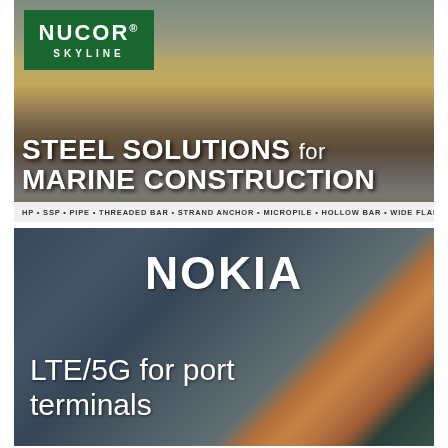[Figure (photo): Nucor Skyline advertisement showing a marine construction site with sheet piling along a waterway and a bulldozer on the embankment. Green Nucor Skyline logo in top-left corner. Bold white headline reads 'STEEL SOLUTIONS for MARINE CONSTRUCTION'. Product bar at bottom lists HP, SSP, PIPE, THREADED BAR, STRAND ANCHOR, MICROPILE, HOLLOW BAR, WIDE FLANGE.]
[Figure (photo): Nokia advertisement showing an aerial view of a busy port terminal with colorful shipping containers and cranes. White NOKIA logo at top center. White text reads 'LTE/5G for port terminals'.]